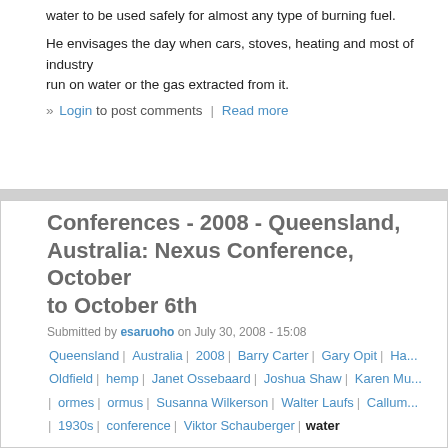water to be used safely for almost any type of burning fuel.
He envisages the day when cars, stoves, heating and most of industry run on water or the gas extracted from it.
» Login to post comments | Read more
Conferences - 2008 - Queensland, Australia: Nexus Conference, October to October 6th
Submitted by esaruoho on July 30, 2008 - 15:08
Queensland | Australia | 2008 | Barry Carter | Gary Opit | Ha... Oldfield | hemp | Janet Ossebaard | Joshua Shaw | Karen Mu... | ormes | ormus | Susanna Wilkerson | Walter Laufs | Callum... | 1930s | conference | Viktor Schauberger | water
http://www.nexusmagazine.com/index.php?option=com_content&task=view&id=4...
NEXUS Conference 2008
After such a great response last year, the NEXUS Conference 2008 w... this year take place at Novotel Twin Waters Resort on Queensland's S... Coast, Australia and will run from Saturday morning 4 October until Mo...